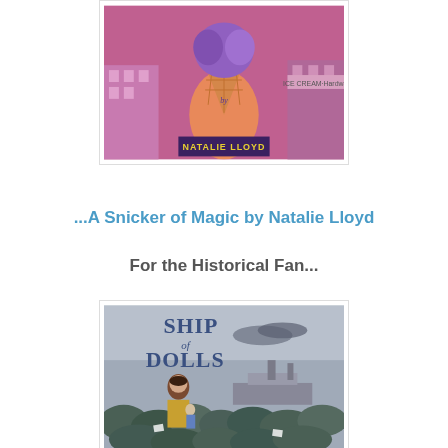[Figure (illustration): Book cover of 'A Snicker of Magic' by Natalie Lloyd — colorful illustration showing a hand holding an ice cream cone with a purple top, set against a pink and blue town backdrop with text 'by NATALIE LLOYD']
...A Snicker of Magic by Natalie Lloyd
For the Historical Fan...
[Figure (illustration): Book cover of 'Ship of Dolls' — illustration of a girl in a yellow coat holding a doll, standing on large rounded dark stones, with a ship in the background against a grey sky. Title 'SHIP of DOLLS' in blue letters at the top.]